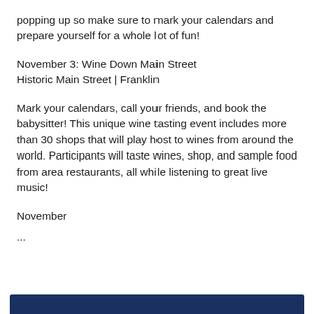popping up so make sure to mark your calendars and prepare yourself for a whole lot of fun!
November 3: Wine Down Main Street
Historic Main Street | Franklin
Mark your calendars, call your friends, and book the babysitter! This unique wine tasting event includes more than 30 shops that will play host to wines from around the world. Participants will taste wines, shop, and sample food from area restaurants, all while listening to great live music!
November
...
[Figure (other): Dark navy blue bar at the bottom of the page]